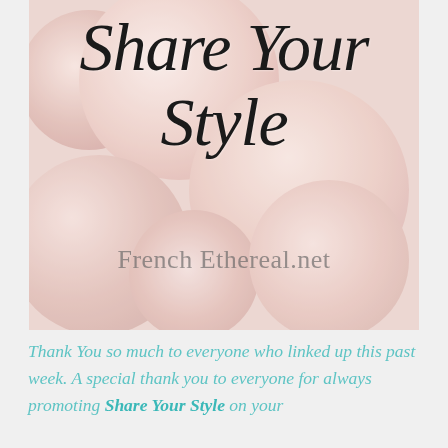[Figure (photo): A floral photograph of soft pink ranunculus flowers with overlaid script text reading 'Share Your Style' and a watermark 'FrenchEthereal.net']
Thank You so much to everyone who linked up this past week. A special thank you to everyone for always promoting Share Your Style on your